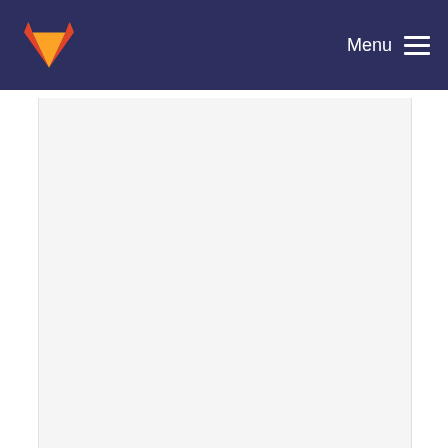Menu
stmhal: Check CDC tx buffer has free space befor...
Damien George committed 8 years ago